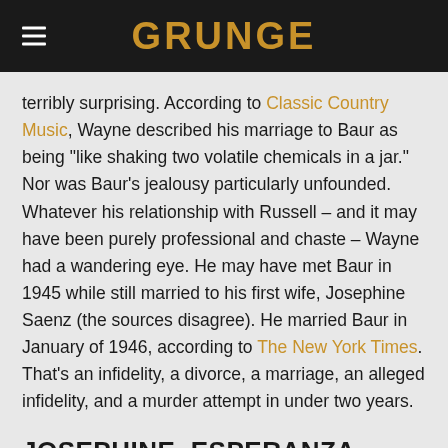GRUNGE
terribly surprising. According to Classic Country Music, Wayne described his marriage to Baur as being "like shaking two volatile chemicals in a jar." Nor was Baur's jealousy particularly unfounded. Whatever his relationship with Russell – and it may have been purely professional and chaste – Wayne had a wandering eye. He may have met Baur in 1945 while still married to his first wife, Josephine Saenz (the sources disagree). He married Baur in January of 1946, according to The New York Times. That's an infidelity, a divorce, a marriage, an alleged infidelity, and a murder attempt in under two years.
JOSEPHINE, ESPERANZA, PILAR